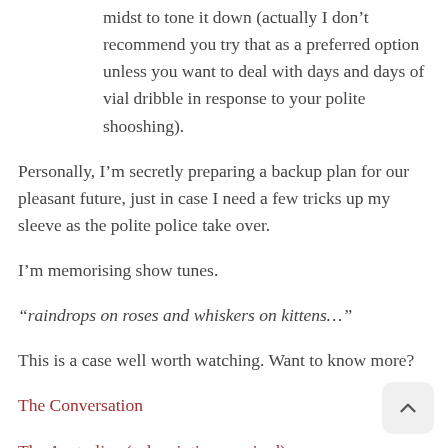midst to tone it down (actually I don't recommend you try that as a preferred option unless you want to deal with days and days of vial dribble in response to your polite shooshing).
Personally, I'm secretly preparing a backup plan for our pleasant future, just in case I need a few tricks up my sleeve as the polite police take over.
I'm memorising show tunes.
“raindrops on roses and whiskers on kittens…”
This is a case well worth watching. Want to know more?
The Conversation
The Australian (subscription required)